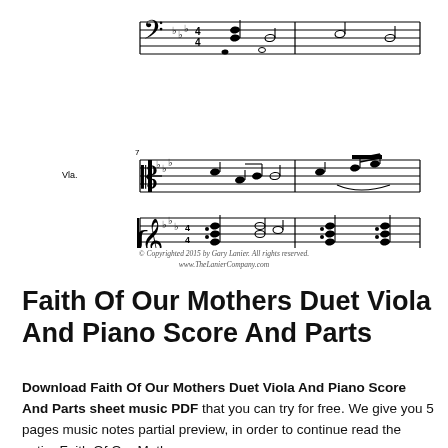[Figure (illustration): Sheet music score excerpt showing viola part and piano grand staff (treble and bass clef) with two systems of music notation, key signature with flats, time signature, notes, barlines, slurs, and instrument label 'Vla.' for viola. Standard Western classical music notation on five-line staves.]
© Copyrighted 2015 by Gary Lanier. All rights reserved.
www.TheLanierCompany.com
Faith Of Our Mothers Duet Viola And Piano Score And Parts
Download Faith Of Our Mothers Duet Viola And Piano Score And Parts sheet music PDF that you can try for free. We give you 5 pages music notes partial preview, in order to continue read the entire Faith Of Our Mothers